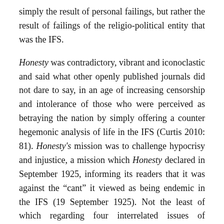simply the result of personal failings, but rather the result of failings of the religio-political entity that was the IFS.
Honesty was contradictory, vibrant and iconoclastic and said what other openly published journals did not dare to say, in an age of increasing censorship and intolerance of those who were perceived as betraying the nation by simply offering a counter hegemonic analysis of life in the IFS (Curtis 2010: 81). Honesty's mission was to challenge hypocrisy and injustice, a mission which Honesty declared in September 1925, informing its readers that it was against the “cant” it viewed as being endemic in the IFS (19 September 1925). Not the least of which regarding four interrelated issues of ideological as well as social importance in the IFS, namely prostitution, sexual crime, child abuse and the treatment of unmarried mothers and their children. Issues that laid down